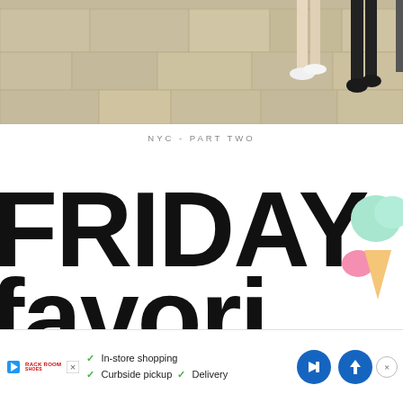[Figure (photo): Top portion of a street photo showing people's legs/feet walking on stone pavement, cropped to show only the lower body.]
NYC - PART TWO
[Figure (photo): Close-up of large black bold hand-lettered text reading 'FRIDAY favori' (cropped), with colorful illustrated ice cream/treats on the right side in mint and pink colors, on white background.]
[Figure (other): Advertisement banner: Play icon, Rack Room logo, checkmarks with 'In-store shopping', 'Curbside pickup', 'Delivery', blue navigation arrow icon, X close button.]